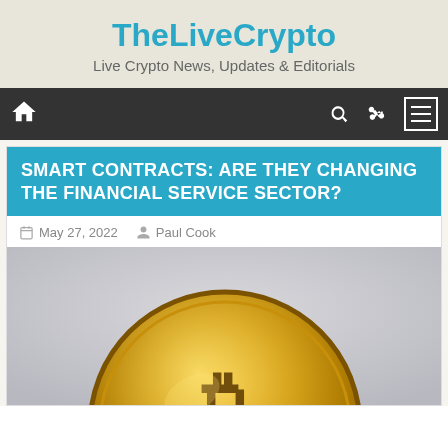TheLiveCrypto
Live Crypto News, Updates & Editorials
SMART CONTRACTS: ARE THEY CHANGING THE FINANCIAL SERVICE SECTOR?
May 27, 2022   Paul Cook
[Figure (photo): Gold Bitcoin coin photographed close-up against a light grey background]